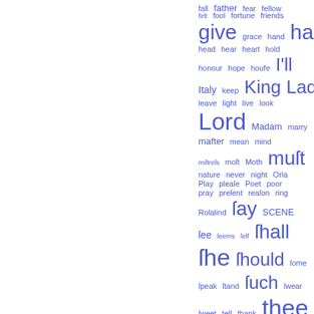[Figure (infographic): Word cloud in blue tones on white background showing words from a Shakespearean text (As You Like It or similar), with word size indicating frequency. Words include: fall, father, fear, fellow, firft, fool, fortune, friends, give, grace, hand, hath, head, hear, heart, hold, honour, hope, houfe, I'll, Italy, keep, King, Lady, leave, light, live, look, Lord, Madam, marry, mafter, mean, mind, miftrefs, moft, Moth, muft, nature, never, night, Orla, Play, pleafe, Poet, poor, pray, prefent, realon, ring, Rotalind, fay, SCENE, fee, feems, felf, fhall, fhe, fhould, fome, fpeak, ftand, fuch, fwear, fweet, tell, thank, thee]